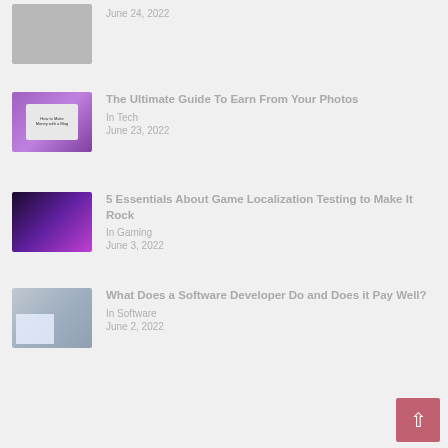[Figure (photo): Partial article thumbnail at top, cropped - gray/neutral image]
June 24, 2022
[Figure (photo): Purple background with laptop showing blog money-making guide]
The Ultimate Guide To Earn From Your Photos
In Tech
June 23, 2022
[Figure (photo): Dark purple gaming background with colorful abstract game art]
5 Essentials About Game Localization Testing to Make It Rock
In Gaming
June 3, 2022
[Figure (photo): Software developer at desk with blue-tinted papers and tablet]
What Does a Software Developer Do and Does it Pay Well?
In Software
June 2, 2022